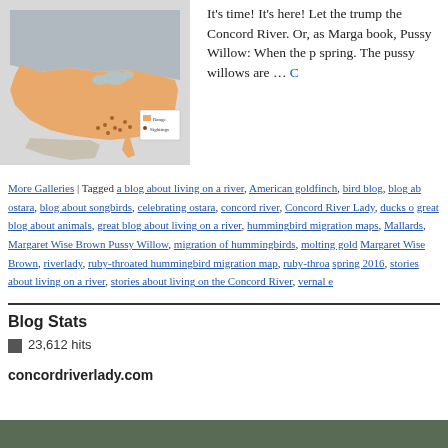[Figure (map): Map of North America showing hummingbird migration range, with orange shading across the eastern and central United States and dots indicating sightings in the southeastern US.]
It's time! It's here! Let the trump the Concord River. Or, as Marga book, Pussy Willow: When the p spring. The pussy willows are …
More Galleries | Tagged a blog about living on a river, American goldfinch, bird blog, blog about ostara, blog about songbirds, celebrating ostara, concord river, Concord River Lady, ducks, great blog about animals, great blog about living on a river, hummingbird migration maps, Mallards, Margaret Wise Brown Pussy Willow, migration of hummingbirds, molting goldfinch, Margaret Wise Brown, riverlady, ruby-throated hummingbird migration map, ruby-throated hummingbird spring 2016, stories about living on a river, stories about living on the Concord River, vernal equinox
Blog Stats
23,612 hits
concordriverlady.com